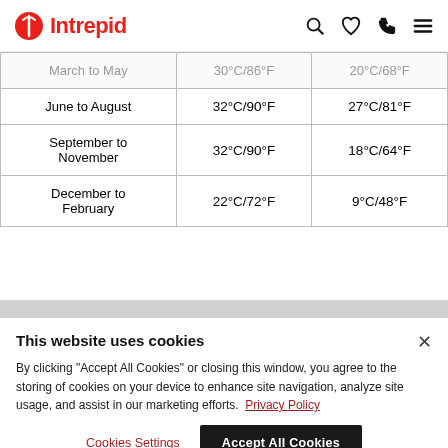Intrepid [logo]
| Season | High | Low |
| --- | --- | --- |
| March to May | 30°C/86°F | 20°C/68°F |
| June to August | 32°C/90°F | 27°C/81°F |
| September to November | 32°C/90°F | 18°C/64°F |
| December to February | 22°C/72°F | 9°C/48°F |
This website uses cookies
By clicking "Accept All Cookies" or closing this window, you agree to the storing of cookies on your device to enhance site navigation, analyze site usage, and assist in our marketing efforts. Privacy Policy
Cookies Settings | Accept All Cookies